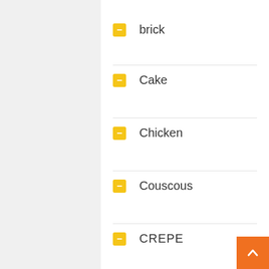brick
Cake
Chicken
Couscous
CREPE
A note to our visitors
This website has updated its privacy policy in compliance with changes to European Union data protection law, for all members globally. We've also updated our Privacy Policy to give you more information about your rights and responsibilities with respect to your privacy and personal information. Please read this to review the updates about which cookies we use and what information we collect on our site. By continuing to use this site, you are agreeing to our updated privacy policy.
English